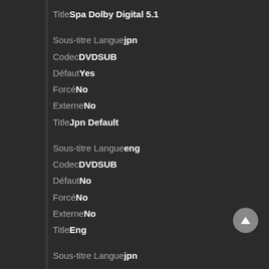Title Spa Dolby Digital 5.1
Sous-titre Langue jpn
Codec DVDSUB
Défaut Yes
Forcé No
Externe No
Title Jpn Default
Sous-titre Langue eng
Codec DVDSUB
Défaut No
Forcé No
Externe No
Title Eng
Sous-titre Langue jpn
Codec DVDSUB
Défaut No
Forcé No
Externe No